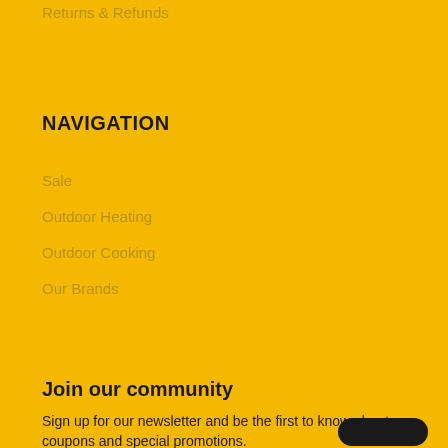Returns & Refunds
NAVIGATION
Sale
Outdoor Heating
Outdoor Cooking
Our Brands
Join our community
Sign up for our newsletter and be the first to know about coupons and special promotions.